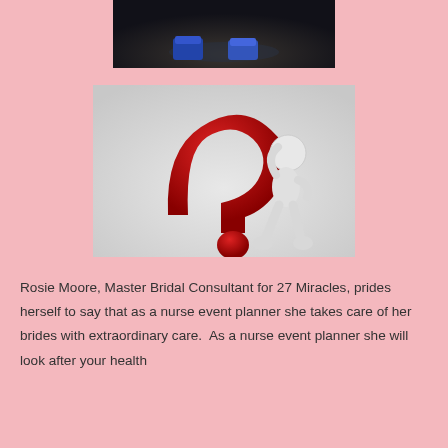[Figure (photo): Cropped photo showing feet/shoes on dark ground, viewed from above]
[Figure (illustration): 3D illustration of a large red question mark with a white humanoid figure sitting on it, scratching its head]
Rosie Moore, Master Bridal Consultant for 27 Miracles, prides herself to say that as a nurse event planner she takes care of her brides with extraordinary care.  As a nurse event planner she will look after your health